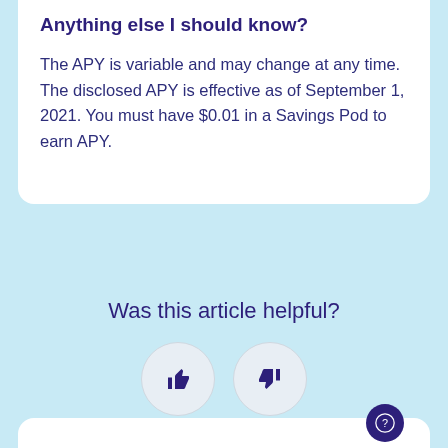Anything else I should know?
The APY is variable and may change at any time. The disclosed APY is effective as of September 1, 2021. You must have $0.01 in a Savings Pod to earn APY.
Was this article helpful?
[Figure (infographic): Two circular buttons with thumbs up and thumbs down icons for article feedback]